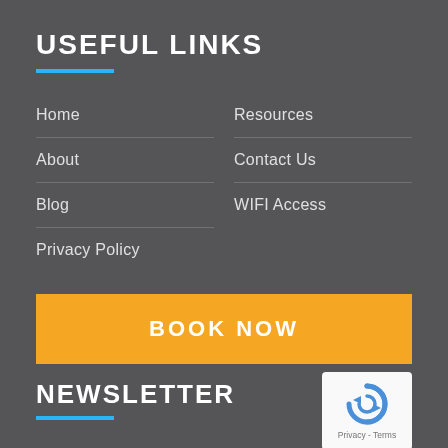USEFUL LINKS
Home
About
Blog
Privacy Policy
Resources
Contact Us
WIFI Access
BOOK NOW
NEWSLETTER
[Figure (logo): reCAPTCHA logo with text Privacy - Terms]